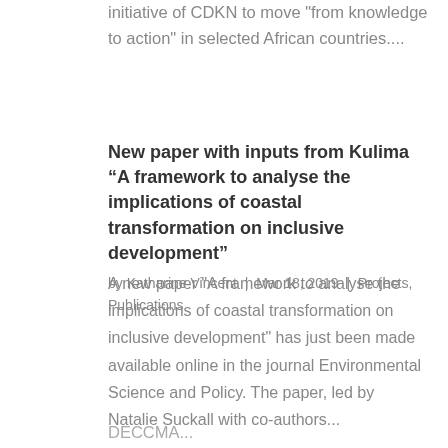initiative of CDKN to move "from knowledge to action" in selected African countries....
New paper with inputs from Kulima “A framework to analyse the implications of coastal transformation on inclusive development”
by Katharine Vincent | Mar 18, 2019 | Projects, Publications
A new paper "A framework to analyse the implications of coastal transformation on inclusive development" has just been made available online in the journal Environmental Science and Policy. The paper, led by Natalie Suckall with co-authors...
DECCMA...